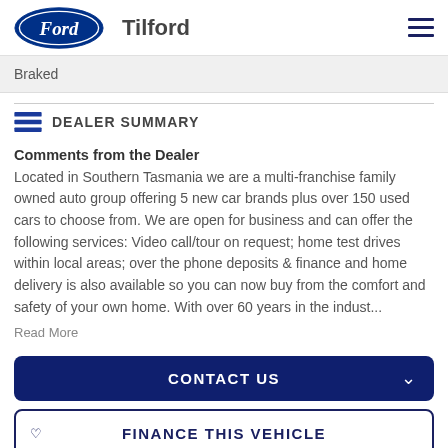Ford Tilford
Braked
DEALER SUMMARY
Comments from the Dealer
Located in Southern Tasmania we are a multi-franchise family owned auto group offering 5 new car brands plus over 150 used cars to choose from. We are open for business and can offer the following services: Video call/tour on request; home test drives within local areas; over the phone deposits & finance and home delivery is also available so you can now buy from the comfort and safety of your own home. With over 60 years in the indust...
Read More
CONTACT US
FINANCE THIS VEHICLE